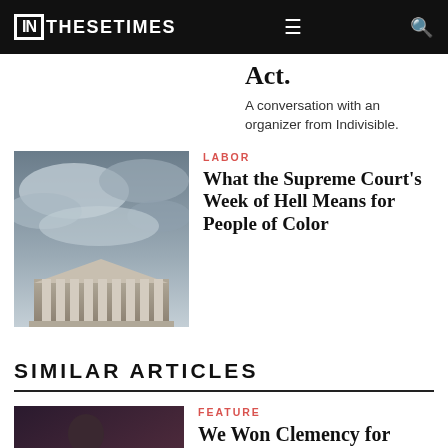IN THESE TIMES
Act.
A conversation with an organizer from Indivisible.
LABOR
What the Supreme Court's Week of Hell Means for People of Color
SIMILAR ARTICLES
FEATURE
We Won Clemency for Cyntoia Brown—Now Let's Free all Survivors